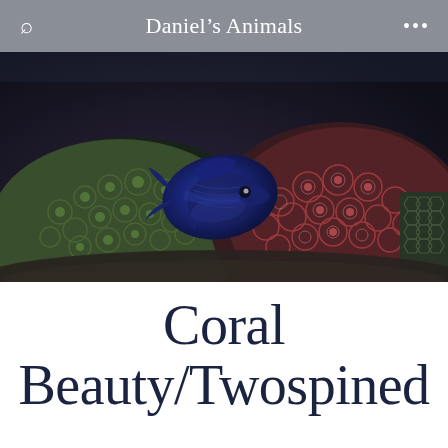Daniel's Animals
[Figure (photo): Underwater photo of a dark blue/purple fish (Coral Beauty / Twospined Angelfish) swimming near colorful coral formations including a green mound coral and red/pink polyp coral against a dark aquatic background]
Coral Beauty/Twospined